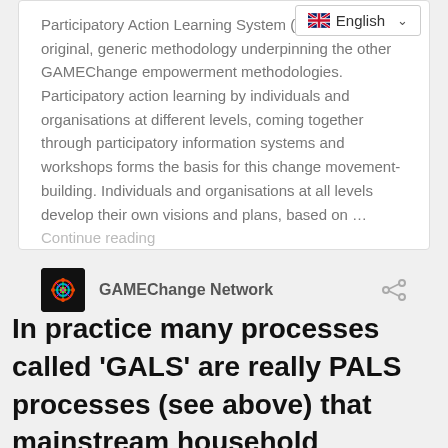Participatory Action Learning System (PALS) is the original, generic methodology underpinning the other GAMEChange empowerment methodologies. Participatory action learning by individuals and organisations at different levels, coming together through participatory information systems and workshops forms the basis for this change movement-building. Individuals and organisations at all levels develop their own visions and plans, based on … Continue reading
GAMEChange Network
In practice many processes called 'GALS' are really PALS processes (see above) that mainstream household sustainability tools as an essential part of any intervention claiming